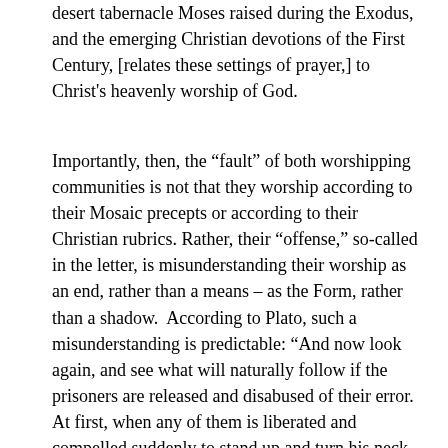desert tabernacle Moses raised during the Exodus, and the emerging Christian devotions of the First Century, [relates these settings of prayer,] to Christ's heavenly worship of God.
Importantly, then, the “fault” of both worshipping communities is not that they worship according to their Mosaic precepts or according to their Christian rubrics. Rather, their “offense,” so-called in the letter, is misunderstanding their worship as an end, rather than a means – as the Form, rather than a shadow.  According to Plato, such a misunderstanding is predictable: “And now look again, and see what will naturally follow if the prisoners are released and disabused of their error.  At first, when any of them is liberated and compelled suddenly to stand up and turn his neck round and walk and look towards the light, he will suffer sharp pains; the glare will distress him … will he not be perplexed?  Will he not fancy that the shadows which he formerly saw are truer than the objects which are now shown to him?”[xviii]